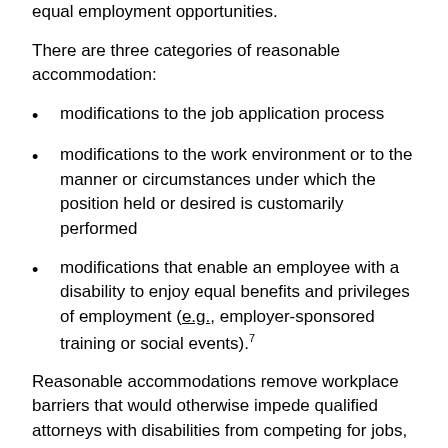done that enables an individual with a disability to enjoy equal employment opportunities.
There are three categories of reasonable accommodation:
modifications to the job application process
modifications to the work environment or to the manner or circumstances under which the position held or desired is customarily performed
modifications that enable an employee with a disability to enjoy equal benefits and privileges of employment (e.g., employer-sponsored training or social events).7
Reasonable accommodations remove workplace barriers that would otherwise impede qualified attorneys with disabilities from competing for jobs, performing jobs, or gaining access to the benefits of employment. As with so